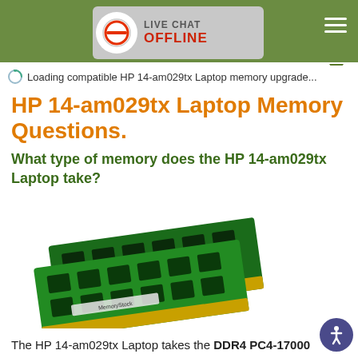LIVE CHAT OFFLINE
Loading compatible HP 14-am029tx Laptop memory upgrade...
HP 14-am029tx Laptop Memory Questions.
What type of memory does the HP 14-am029tx Laptop take?
[Figure (photo): Two green DDR4 SODIMM RAM sticks branded MemoryStock, overlapping each other at an angle]
The HP 14-am029tx Laptop takes the DDR4 PC4-17000 2133MHz Non-ECC SODIMM memory type, and comes installed with 8GB memory.
How much memory does the HP 14-am029tx Laptop take?